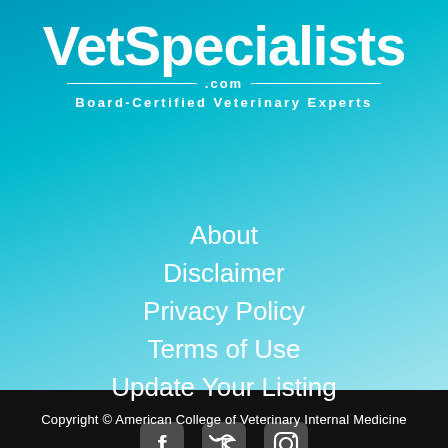[Figure (logo): VetSpecialists.com logo with white text on blue/teal gradient background, with tagline 'Board-Certified Veterinary Experts']
About
Disclaimer
Privacy Policy
Terms of Use
Update Your Listing
[Figure (illustration): Three social media icons: Facebook, Twitter, Instagram — white rounded square icons]
Copyright © American College of Veterinary Internal Medicine